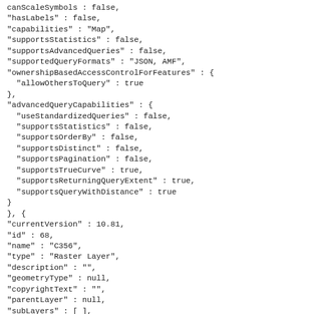canScaleSymbols : false,
"hasLabels" : false,
"capabilities" : "Map",
"supportsStatistics" : false,
"supportsAdvancedQueries" : false,
"supportedQueryFormats" : "JSON, AMF",
"ownershipBasedAccessControlForFeatures" : {
  "allowOthersToQuery" : true
},
"advancedQueryCapabilities" : {
  "useStandardizedQueries" : false,
  "supportsStatistics" : false,
  "supportsOrderBy" : false,
  "supportsDistinct" : false,
  "supportsPagination" : false,
  "supportsTrueCurve" : true,
  "supportsReturningQueryExtent" : true,
  "supportsQueryWithDistance" : true
}
}, {
"currentVersion" : 10.81,
"id" : 68,
"name" : "C356",
"type" : "Raster Layer",
"description" : "",
"geometryType" : null,
"copyrightText" : "",
"parentLayer" : null,
"subLayers" : [ ],
"minScale" : 0,
"maxScale" : 0,
"defaultVisibility" : true,
"extent" : {
  "xmin" : 375722.69576538465,
  "ymin" : 6421229.563115574,
  "xmax" : 377277.19576538465,
  "ymax" : 6422788.563115574,
  "spatialReference" : {